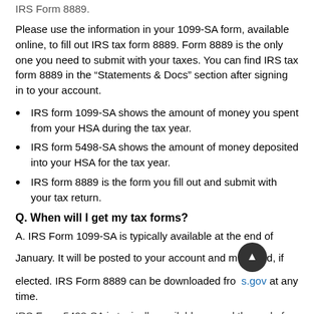IRS Form 8889.
Please use the information in your 1099-SA form, available online, to fill out IRS tax form 8889. Form 8889 is the only one you need to submit with your taxes. You can find IRS tax form 8889 in the “Statements & Docs” section after signing in to your account.
IRS form 1099-SA shows the amount of money you spent from your HSA during the tax year.
IRS form 5498-SA shows the amount of money deposited into your HSA for the tax year.
IRS form 8889 is the form you fill out and submit with your tax return.
Q. When will I get my tax forms?
A. IRS Form 1099-SA is typically available at the end of January. It will be posted to your account and mailed, if elected. IRS Form 8889 can be downloaded from IRS.gov at any time.
IRS Form 5498-SA is typically available around the end of